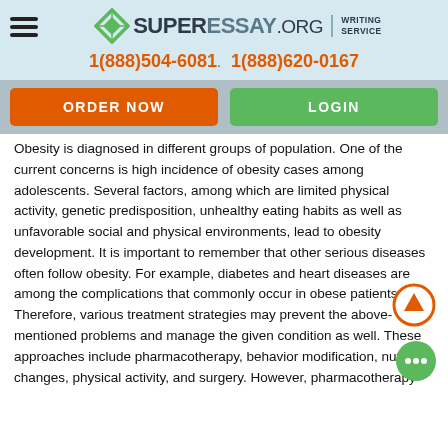SUPERESSAY.ORG WRITING SERVICE
1(888)504-6081   1(888)620-0167
ORDER NOW   LOGIN
Obesity is diagnosed in different groups of population. One of the current concerns is high incidence of obesity cases among adolescents. Several factors, among which are limited physical activity, genetic predisposition, unhealthy eating habits as well as unfavorable social and physical environments, lead to obesity development. It is important to remember that other serious diseases often follow obesity. For example, diabetes and heart diseases are among the complications that commonly occur in obese patients. Therefore, various treatment strategies may prevent the above-mentioned problems and manage the given condition as well. These approaches include pharmacotherapy, behavior modification, nutrition changes, physical activity, and surgery. However, pharmacotherapy and surgery are not the best options for children and adolescents since they may lead to negative consequences. Therefore, the researchers emphasize the benefits of specialized diets. Plant-based diets are believed to be among the